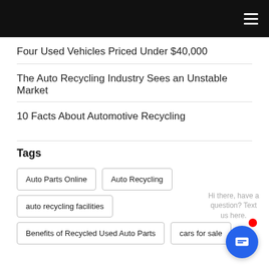Navigation bar with hamburger menu
Four Used Vehicles Priced Under $40,000
The Auto Recycling Industry Sees an Unstable Market
10 Facts About Automotive Recycling
Tags
Auto Parts Online
Auto Recycling
auto recycling facilities
Benefits of Recycled Used Auto Parts
cars for sale